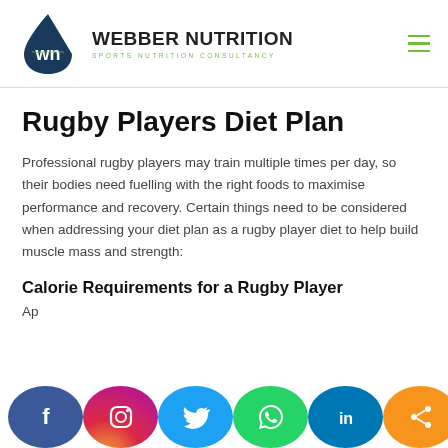[Figure (logo): Webber Nutrition logo — dark blue water drop with 'wn' monogram inside, next to bold text 'WEBBER NUTRITION' and subtitle 'SPORTS NUTRITION CONSULTANCY' in green]
Rugby Players Diet Plan
Professional rugby players may train multiple times per day, so their bodies need fuelling with the right foods to maximise performance and recovery. Certain things need to be considered when addressing your diet plan as a rugby player diet to help build muscle mass and strength:
Calorie Requirements for a Rugby Player
Ap
[Figure (infographic): Social sharing bar with circular icons: Facebook (blue), Instagram (gradient), Twitter (light blue), WhatsApp (green), LinkedIn (dark blue), Share (orange)]